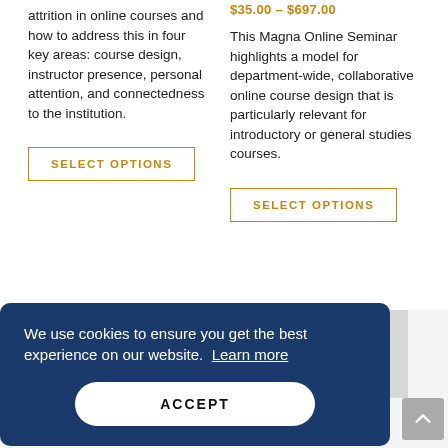attrition in online courses and how to address this in four key areas: course design, instructor presence, personal attention, and connectedness to the institution.
Select options
$35.00 – $697.00
This Magna Online Seminar highlights a model for department-wide, collaborative online course design that is particularly relevant for introductory or general studies courses.
Select options
We use cookies to ensure you get the best experience on our website. Learn more
ACCEPT